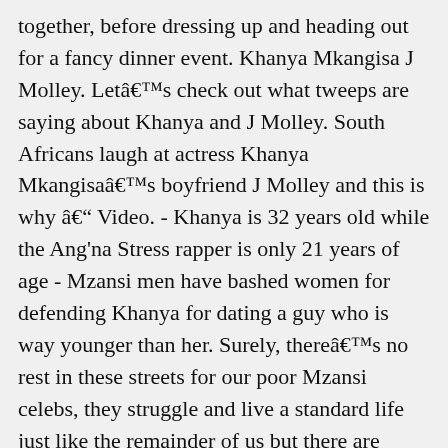together, before dressing up and heading out for a fancy dinner event. Khanya Mkangisa J Molley. Letâ€™s check out what tweeps are saying about Khanya and J Molley. South Africans laugh at actress Khanya Mkangisaâ€™s boyfriend J Molley and this is why â€“ Video. - Khanya is 32 years old while the Ang'na Stress rapper is only 21 years of age - Mzansi men have bashed women for defending Khanya for dating a guy who is way younger than her. Surely, thereâ€™s no rest in these streets for our poor Mzansi celebs, they struggle and live a standard life just like the remainder of us but there are always questions around their private lives. Omie Chester- 09/11/2020. Social media came after the two of them because tweeps were not in favour of the alleged relationship because of the age difference. The next couple in Social Media court is Khanya Mkangisa and J Molley, the two lovebirds have raised a lot of questions online. Khanya Mkangisa and J Molley shake Twitter